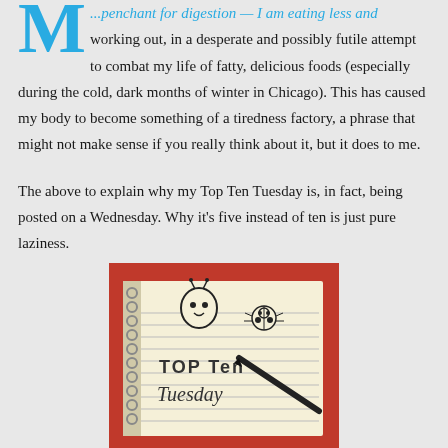...penchant for digestion — I am eating less and working out, in a desperate and possibly futile attempt to combat my life of fatty, delicious foods (especially during the cold, dark months of winter in Chicago). This has caused my body to become something of a tiredness factory, a phrase that might not make sense if you really think about it, but it does to me.
The above to explain why my Top Ten Tuesday is, in fact, being posted on a Wednesday. Why it's five instead of ten is just pure laziness.
[Figure (photo): A notebook with hand-drawn doodles of a ghost-like character and a ladybug, with a pen resting on top. The notebook has 'TOP TEN Tuesday' written in marker. Red background visible behind the notebook.]